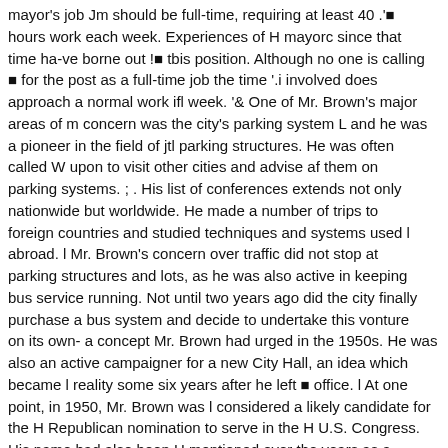mayor's job Jm should be full-time, requiring at least 40 .'■ hours work each week. Experiences of H mayorc since that time ha-ve borne out !■ tbis position. Although no one is calling ■ for the post as a full-time job the time '.i involved does approach a normal work ifl week. '& One of Mr. Brown's major areas of m concern was the city's parking system L and he was a pioneer in the field of jtl parking structures. He was often called W upon to visit other cities and advise af them on parking systems. ; . His list of conferences extends not only nationwide but worldwide. He made a number of trips to foreign countries and studied techniques and systems used l abroad. l Mr. Brown's concern over traffic did not stop at parking structures and lots, as he was also active in keeping bus service running. Not until two years ago did the city finally purchase a bus system and decide to undertake this vonture on its own- a concept Mr. Brown had urged in the 1950s. He was also an active campaigner for a new City Hall, an idea which became l reality some six years after he left ■ office. l At one point, in 1950, Mr. Brown was l considered a likely candidate for the H Republican nomination to serve in the H U.S. Congress. His name had also been H mentioned over the years as a candidate for the State Legislature. l Mr. Brown, who lived at 2116 Dorset Rd., died at St. Joseph Mercy Hospital l following an illness of several days.